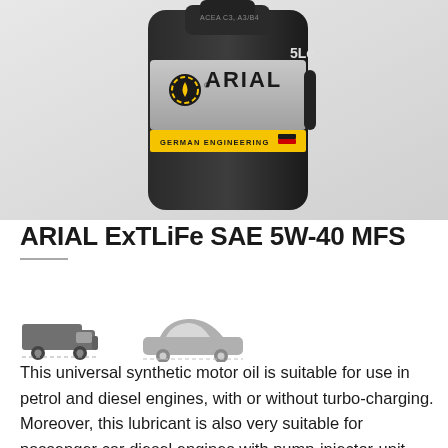[Figure (photo): ARIAL ExTLiFe SAE 5W-40 MFS motor oil black 5 litre container with grey and yellow label showing ARIAL brand name and GERMAN ENGINEERING text]
ARIAL ExTLiFe SAE 5W-40 MFS
[Figure (illustration): Two vehicle icons side by side: a dark grey truck/van and a lighter grey passenger car, indicating the oil is suitable for both vehicle types]
This universal synthetic motor oil is suitable for use in petrol and diesel engines, with or without turbo-charging. Moreover, this lubricant is also very suitable for passenger car diesel engines with pump-injector-unit.